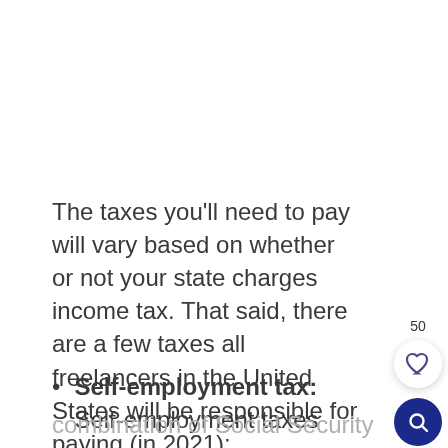The taxes you'll need to pay will vary based on whether or not your state charges income tax. That said, there are a few taxes all freelancers in the United States will be responsible for paying (in 2021):
Self-employment tax: Self-employment taxes are a combination of Social Security (12.4%) and Medicare (2.9%)